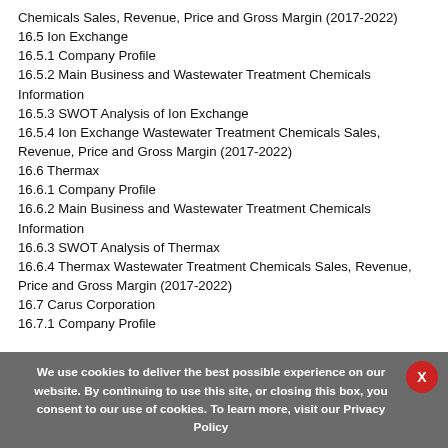Chemicals Sales, Revenue, Price and Gross Margin (2017-2022)
16.5 Ion Exchange
16.5.1 Company Profile
16.5.2 Main Business and Wastewater Treatment Chemicals Information
16.5.3 SWOT Analysis of Ion Exchange
16.5.4 Ion Exchange Wastewater Treatment Chemicals Sales, Revenue, Price and Gross Margin (2017-2022)
16.6 Thermax
16.6.1 Company Profile
16.6.2 Main Business and Wastewater Treatment Chemicals Information
16.6.3 SWOT Analysis of Thermax
16.6.4 Thermax Wastewater Treatment Chemicals Sales, Revenue, Price and Gross Margin (2017-2022)
16.7 Carus Corporation
16.7.1 Company Profile
We use cookies to deliver the best possible experience on our website. By continuing to use this site, or closing this box, you consent to our use of cookies. To learn more, visit our Privacy Policy